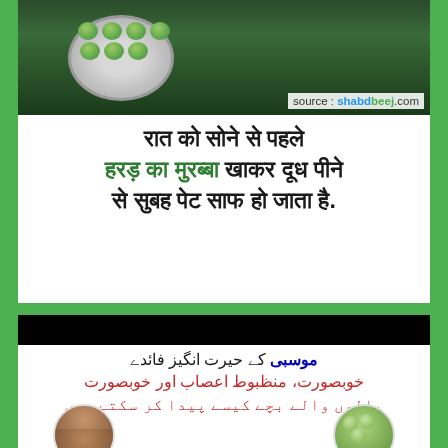[Figure (photo): Top photo of green fruits/berries in a bowl on dark background with source watermark]
source : shabdbeej.com
रात को सोने से पहले हरड़ का मुरब्बा खाकर दूध पीने से सुबह पेट साफ हो जाता है.
[Figure (photo): Bottom section with black header bar and Urdu text about mosambi benefits, with portrait and fruit images]
موسبی کے حیرت انگیز فائدے خوبصورت، منظبوط اعصاب اور خوبصورت بالوں والے بچے کیسے پیدا کر سکتے ہیں